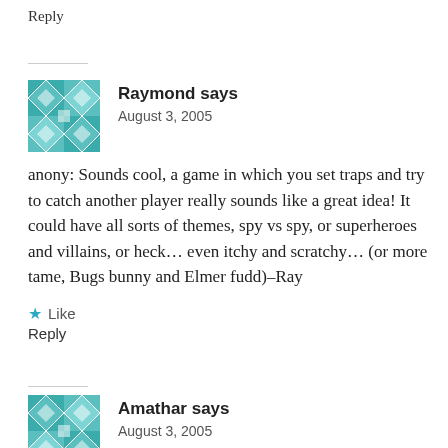Reply
Raymond says
August 3, 2005
anony: Sounds cool, a game in which you set traps and try to catch another player really sounds like a great idea! It could have all sorts of themes, spy vs spy, or superheroes and villains, or heck… even itchy and scratchy… (or more tame, Bugs bunny and Elmer fudd)–Ray
Like
Reply
Amathar says
August 3, 2005